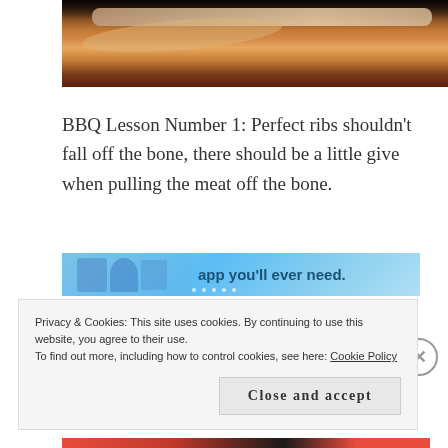[Figure (photo): Close-up photo of BBQ ribs on a wooden cutting board, showing the cross-section of the meat with visible bone and char.]
BBQ Lesson Number 1: Perfect ribs shouldn't fall off the bone, there should be a little give when pulling the meat off the bone.
[Figure (other): Advertisement banner with blue background showing cartoon icons and text 'app you'll ever need.']
REPORT THIS AD
Privacy & Cookies: This site uses cookies. By continuing to use this website, you agree to their use.
To find out more, including how to control cookies, see here: Cookie Policy
Close and accept